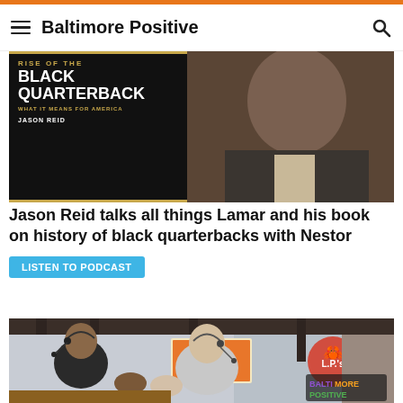Baltimore Positive
[Figure (photo): Jason Reid shown in front of book 'Rise of the Black Quarterback: What It Means for America' by Jason Reid]
Jason Reid talks all things Lamar and his book on history of black quarterbacks with Nestor
LISTEN TO PODCAST
[Figure (photo): Two men wearing headsets doing a fist bump at a restaurant with a crab logo (L.P.'s) on the wall. Baltimore Positive logo visible in bottom right corner.]